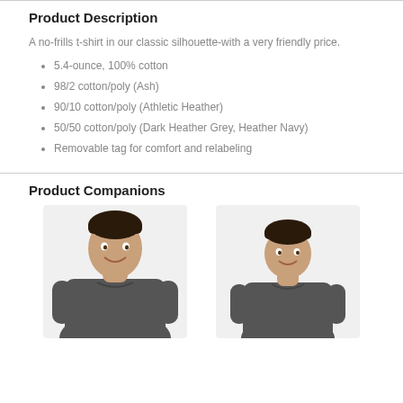Product Description
A no-frills t-shirt in our classic silhouette-with a very friendly price.
5.4-ounce, 100% cotton
98/2 cotton/poly (Ash)
90/10 cotton/poly (Athletic Heather)
50/50 cotton/poly (Dark Heather Grey, Heather Navy)
Removable tag for comfort and relabeling
Product Companions
[Figure (photo): Adult male model wearing a dark grey t-shirt]
[Figure (photo): Youth boy model wearing a dark grey t-shirt]